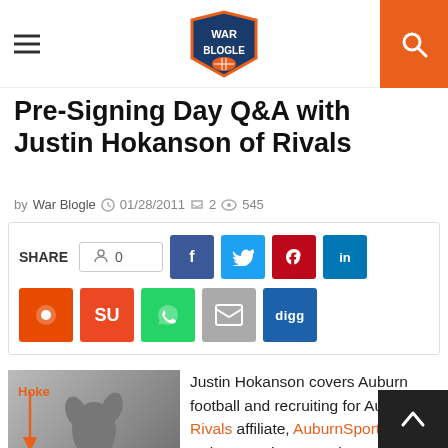War Blogle
Pre-Signing Day Q&A with Justin Hokanson of Rivals
by War Blogle   01/28/2011   2   545
SHARE  0  [social share buttons: Facebook, Twitter, Pinterest, LinkedIn, Reddit, StumbleUpon, WhatsApp, Email, Digg]
[Figure (photo): Black and white photo of a football player jumping, with orange label 'Hoke' and arrow annotation]
Justin Hokanson covers Auburn football and recruiting for Auburn's Rivals affiliate, AuburnSports.com. Hoke was nice enough to answer a few questions for those like me that don't really follow recruiting until around National Signing Day. Justin gives up his take on Auburn's biggest